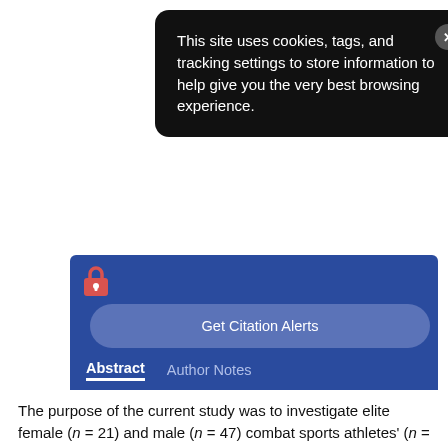This site uses cookies, tags, and tracking settings to store information to help give you the very best browsing experience.
Get Citation Alerts
Get Permissions
Purchase info
Abstract
Author Notes
The purpose of the current study was to investigate elite female (n = 21) and male (n = 47) combat sports athletes' (n = 68;